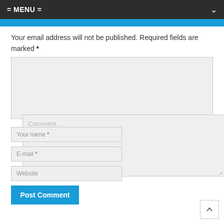= MENU =
Your email address will not be published. Required fields are marked *
[Figure (screenshot): Comment text area input field with placeholder text 'Comment...']
[Figure (screenshot): Your name * input field]
[Figure (screenshot): E-mail * input field]
[Figure (screenshot): Website input field]
[Figure (screenshot): Post Comment button in blue]